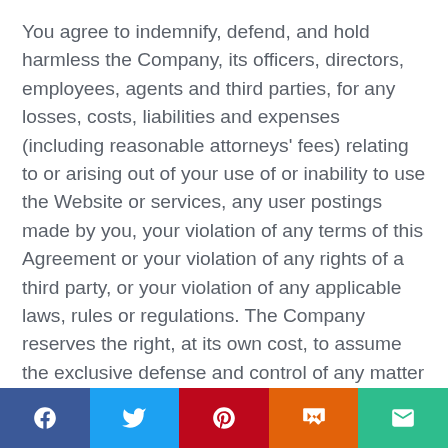You agree to indemnify, defend, and hold harmless the Company, its officers, directors, employees, agents and third parties, for any losses, costs, liabilities and expenses (including reasonable attorneys' fees) relating to or arising out of your use of or inability to use the Website or services, any user postings made by you, your violation of any terms of this Agreement or your violation of any rights of a third party, or your violation of any applicable laws, rules or regulations. The Company reserves the right, at its own cost, to assume the exclusive defense and control of any matter otherwise subject to indemnification by you, in which event you will fully cooperate with the
Social sharing bar: Facebook, Twitter, Pinterest, Mix, Email